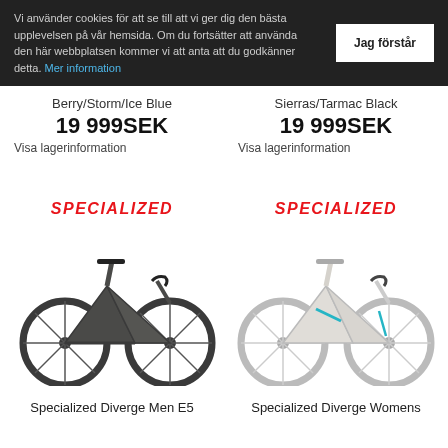Vi använder cookies för att se till att vi ger dig den bästa upplevelsen på vår hemsida. Om du fortsätter att använda den här webbplatsen kommer vi att anta att du godkänner detta. Mer information
Jag förstår
Berry/Storm/Ice Blue
19 999SEK
Visa lagerinformation
Sierras/Tarmac Black
19 999SEK
Visa lagerinformation
[Figure (logo): Specialized logo in red italic bold text on left product card]
[Figure (logo): Specialized logo in red italic bold text on right product card]
[Figure (photo): Dark grey Specialized Diverge Men E5 road/gravel bike with disc brakes]
[Figure (photo): White/light Specialized Diverge Womens road/gravel bike with disc brakes and teal accents]
Specialized Diverge Men E5
Specialized Diverge Womens